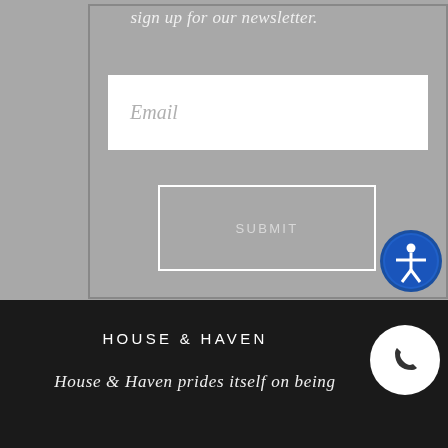sign up for our newsletter.
Email
SUBMIT
[Figure (illustration): Blue circular accessibility icon with white person figure with outstretched arms, surrounded by circular arrows]
HOUSE & HAVEN
House & Haven prides itself on being
[Figure (illustration): White circular phone call button on dark background]